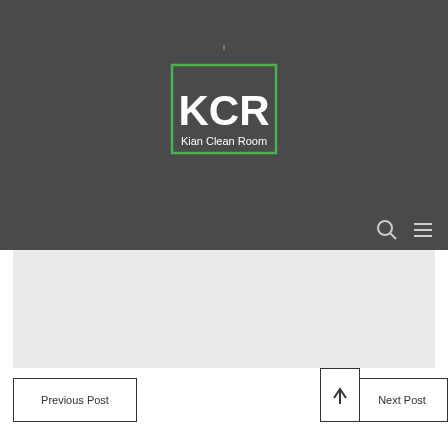[Figure (logo): KCR Kian Clean Room logo — green leaf above a green-bordered rectangle containing white bold text 'KCR' and smaller text 'Kian Clean Room' on dark grey background]
[Figure (other): Navigation bar with search icon (circle with handle) and hamburger menu icon (three horizontal lines) on dark grey background]
[Figure (other): Light grey content area placeholder]
Previous Post
Next Post
[Figure (other): Scroll to top button with upward arrow]